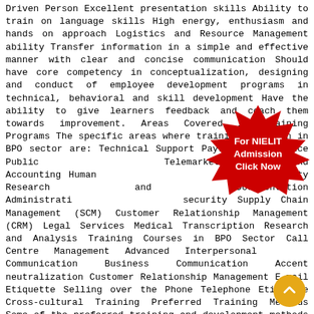Driven Person Excellent presentation skills Ability to train on language skills High energy, enthusiasm and hands on approach Logistics and Resource Management ability Transfer information in a simple and effective manner with clear and concise communication Should have core competency in conceptualization, designing and conduct of employee development programs in technical, behavioral and skill development Have the ability to give learners feedback and coach them towards improvement. Areas Covered in Training Programs The specific areas where training is given in BPO sector are: Technical Support Payroll Maintenance Public Relations Telemarketing Finance and Accounting Human Resources Property Research and Documentation Administration Security Supply Chain Management (SCM) Customer Relationship Management (CRM) Legal Services Medical Transcription Research and Analysis Training Courses in BPO Sector Call Centre Management Advanced Interpersonal Communication Business Communication Accent neutralization Customer Relationship Management E-mail Etiquette Selling over the Phone Telephone Etiquette Cross-cultural Training Preferred Training Methods Some of the preferred training and development methods in BPO Industry are: Computer Based Training Methods E-learning CD-ROM-based Lectures Discussions Media access Web Video Audio Web-based training sessions Intranet-based training courseware DIF has started providing training in Bpo sector FROM 15th
[Figure (other): Red starburst badge with white text reading 'For NIELIT Admission Click Now']